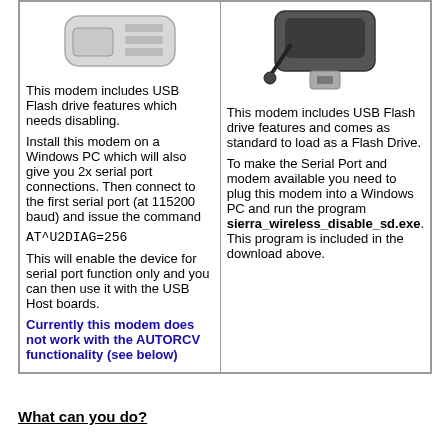| [modem image left]
This modem includes USB Flash drive features which needs disabling.

Install this modem on a Windows PC which will also give you 2x serial port connections. Then connect to the first serial port (at 115200 baud) and issue the command

AT^U2DIAG=256

This will enable the device for serial port function only and you can then use it with the USB Host boards.

Currently this modem does not work with the AUTORCV functionality (see below) | [modem image right]
This modem includes USB Flash drive features and comes as standard to load as a Flash Drive.

To make the Serial Port and modem available you need to plug this modem into a Windows PC and run the program sierra_wireless_disable_sd.exe. This program is included in the download above. |
What can you do?